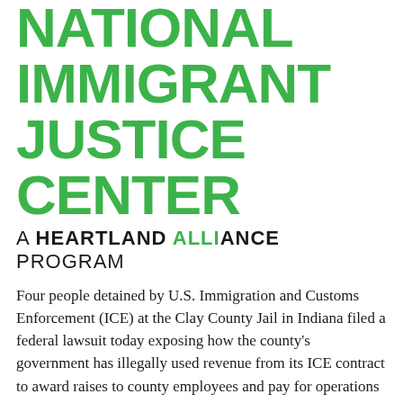NATIONAL IMMIGRANT JUSTICE CENTER
A HEARTLAND ALLIANCE PROGRAM
Four people detained by U.S. Immigration and Customs Enforcement (ICE) at the Clay County Jail in Indiana filed a federal lawsuit today exposing how the county's government has illegally used revenue from its ICE contract to award raises to county employees and pay for operations and capital improvements at unrelated county facilities, while leaving immigrants to suffer in the jail's inhumane conditions. The lawsuit also details how the federal government's immigration inspections system has turned a blind eye to unsanitary conditions and human suffering inside the jail.